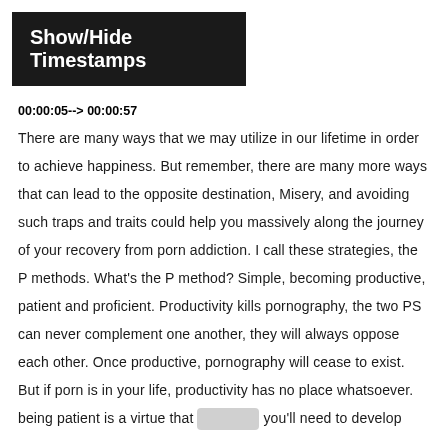Show/Hide Timestamps
00:00:05--> 00:00:57
There are many ways that we may utilize in our lifetime in order to achieve happiness. But remember, there are many more ways that can lead to the opposite destination, Misery, and avoiding such traps and traits could help you massively along the journey of your recovery from porn addiction. I call these strategies, the P methods. What's the P method? Simple, becoming productive, patient and proficient. Productivity kills pornography, the two PS can never complement one another, they will always oppose each other. Once productive, pornography will cease to exist. But if porn is in your life, productivity has no place whatsoever. being patient is a virtue that you'll need to develop